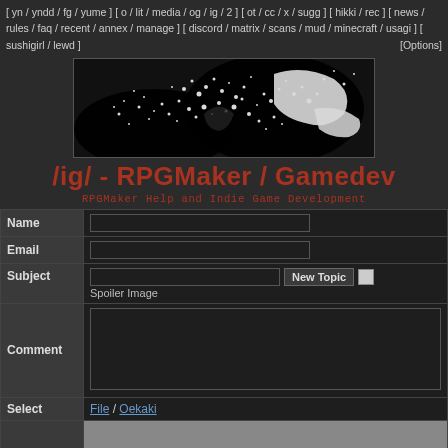[ yn / yndd / fg / yume ] [ o / lit / media / og / ig / 2 ] [ ot / cc / x / sugg ] [ hikki / rec ] [ news / rules / faq / recent / annex / manage ] [ discord / matrix / scans / mud / minecraft / usagi ] [ sushigirl / lewd ]  [Options]
[Figure (illustration): Black and white pixelated/stippled banner image showing abstract splatter pattern, possibly a bird or creature disintegrating into dots on a black background]
/ig/ - RPGMaker / Gamedev
RPGMaker Help and Indie Game Development
| Label | Input |
| --- | --- |
| Name |  |
| Email |  |
| Subject |   New Topic  [ ] Spoiler Image |
| Comment |  |
| Select | File / Oekaki |
|  |  |